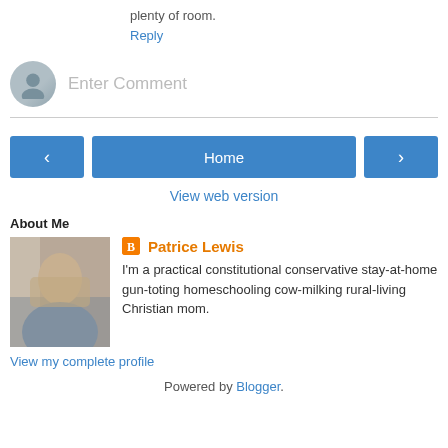plenty of room.
Reply
Enter Comment
Home
< >
View web version
About Me
Patrice Lewis
I'm a practical constitutional conservative stay-at-home gun-toting homeschooling cow-milking rural-living Christian mom.
View my complete profile
Powered by Blogger.